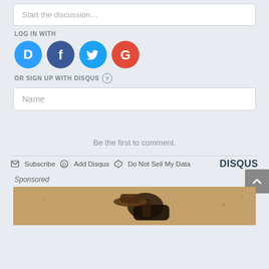Start the discussion…
LOG IN WITH
[Figure (illustration): Social login icons: Disqus (blue), Facebook (dark blue), Twitter (light blue), Google (red)]
OR SIGN UP WITH DISQUS ?
Name
Be the first to comment.
Subscribe  Add Disqus  Do Not Sell My Data  DISQUS
Sponsored
[Figure (photo): Sponsored image showing a rustic/western scene with a mailbox against a sandy textured wall]